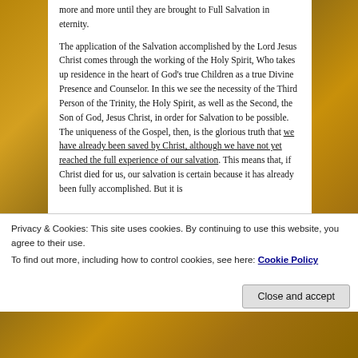more and more until they are brought to Full Salvation in eternity.

The application of the Salvation accomplished by the Lord Jesus Christ comes through the working of the Holy Spirit, Who takes up residence in the heart of God's true Children as a true Divine Presence and Counselor. In this we see the necessity of the Third Person of the Trinity, the Holy Spirit, as well as the Second, the Son of God, Jesus Christ, in order for Salvation to be possible. The uniqueness of the Gospel, then, is the glorious truth that we have already been saved by Christ, although we have not yet reached the full experience of our salvation. This means that, if Christ died for us, our salvation is certain because it has already been fully accomplished. But it is
Privacy & Cookies: This site uses cookies. By continuing to use this website, you agree to their use.
To find out more, including how to control cookies, see here: Cookie Policy